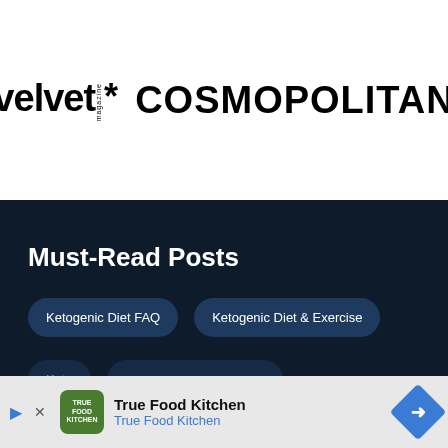[Figure (logo): Velvet Magazine logo and Cosmopolitan logo side by side on white background]
Must-Read Posts
Ketogenic Diet FAQ
Ketogenic Diet & Exercise
[Figure (infographic): True Food Kitchen advertisement banner with app install prompt]